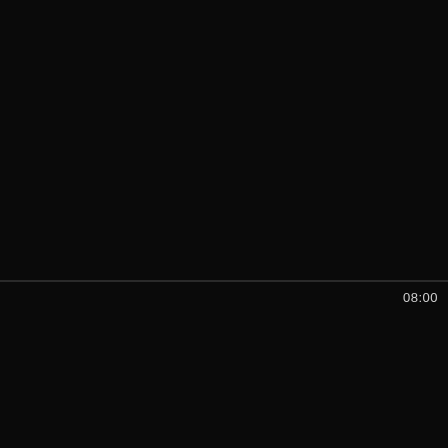[Figure (screenshot): Black video thumbnail card, top panel]
Banging in front of a cheating
Shaved >
[Figure (screenshot): Black video thumbnail card, bottom panel with duration 08:00]
08:00